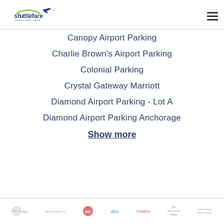Shuttlefare - Share and Save
Canopy Airport Parking
Charlie Brown's Airport Parking
Colonial Parking
Crystal Gateway Marriott
Diamond Airport Parking - Lot A
Diamond Airport Parking Anchorage
Show more
AT&T, Bank of America, [logo], dish, Costco, The New York Times, International Herald Tribune